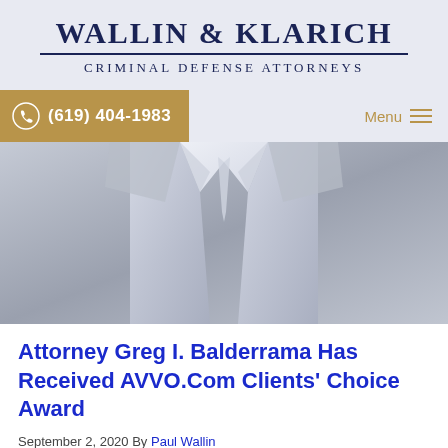WALLIN & KLARICH
CRIMINAL DEFENSE ATTORNEYS
(619) 404-1983
[Figure (photo): Person in a suit and tie, grayscale/muted photo used as hero image for law firm website]
Attorney Greg I. Balderrama Has Received AVVO.Com Clients' Choice Award
September 2, 2020 By Paul Wallin